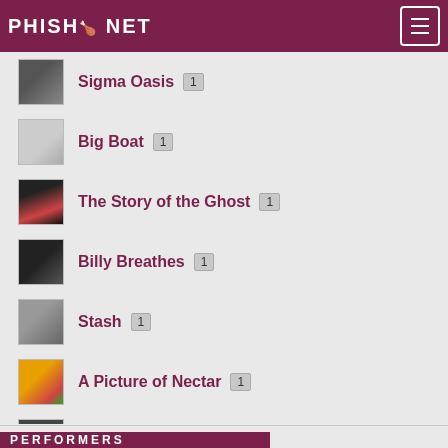PHISH.NET
Sigma Oasis 1
Big Boat 1
The Story of the Ghost 1
Billy Breathes 1
Stash 1
A Picture of Nectar 1
Junta 1